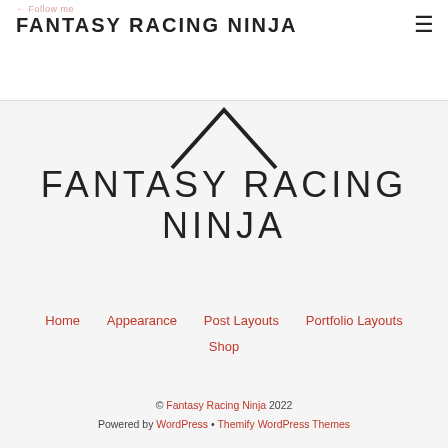← Follow me  FANTASY RACING NINJA  ☰
[Figure (logo): Fantasy Racing Ninja logo: chevron/rooftop shape above the text FANTASY RACING NINJA in large thin uppercase letters]
Home  Appearance  Post Layouts  Portfolio Layouts  Shop
© Fantasy Racing Ninja 2022  Powered by WordPress • Themify WordPress Themes